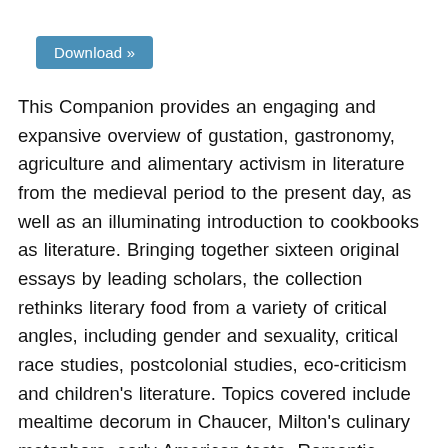[Figure (other): Download button — a blue rounded rectangle labeled 'Download »']
This Companion provides an engaging and expansive overview of gustation, gastronomy, agriculture and alimentary activism in literature from the medieval period to the present day, as well as an illuminating introduction to cookbooks as literature. Bringing together sixteen original essays by leading scholars, the collection rethinks literary food from a variety of critical angles, including gender and sexuality, critical race studies, postcolonial studies, eco-criticism and children's literature. Topics covered include mealtime decorum in Chaucer, Milton's culinary metaphors, early American taste, Romantic gastronomy, Victorian eating, African American women's